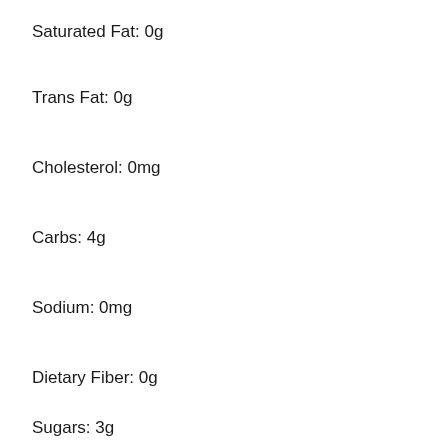Saturated Fat: 0g
Trans Fat: 0g
Cholesterol: 0mg
Carbs: 4g
Sodium: 0mg
Dietary Fiber: 0g
Sugars: 3g